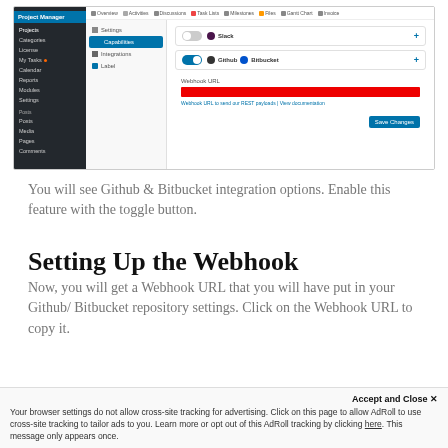[Figure (screenshot): WordPress Project Manager plugin screenshot showing Integrations settings panel with Github & Bitbucket enabled toggle and Webhook URL field with red input bar and Save Changes button]
You will see Github & Bitbucket integration options. Enable this feature with the toggle button.
Setting Up the Webhook
Now, you will get a Webhook URL that you will have put in your Github/ Bitbucket repository settings. Click on the Webhook URL to copy it.
Accept and Close ✕
Your browser settings do not allow cross-site tracking for advertising. Click on this page to allow AdRoll to use cross-site tracking to tailor ads to you. Learn more or opt out of this AdRoll tracking by clicking here. This message only appears once.